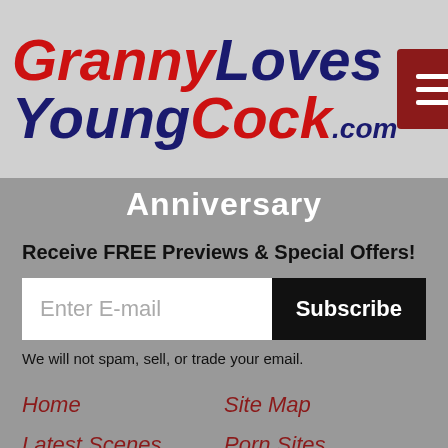GrannyLovesYoungCock.com
Anniversary
Receive FREE Previews & Special Offers!
We will not spam, sell, or trade your email.
Home
Latest Scenes
Bundle Sites
Join Now
Member Login
Site Map
Porn Sites
XXX MILF DVDs
RSS Feed
Modeling Jobs